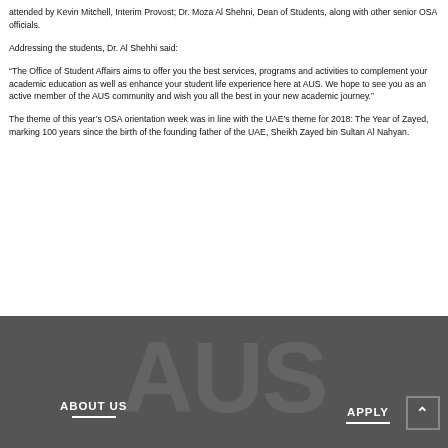attended by Kevin Mitchell, Interim Provost; Dr. Moza Al Shehni, Dean of Students, along with other senior OSA officials.
Addressing the students, Dr. Al Shehhi said:
“The Office of Student Affairs aims to offer you the best services, programs and activities to complement your academic education as well as enhance your student life experience here at AUS. We hope to see you as an active member of the AUS community and wish you all the best in your new academic journey.”
The theme of this year’s OSA orientation week was in line with the UAE’s theme for 2018: The Year of Zayed, marking 100 years since the birth of the founding father of the UAE, Sheikh Zayed bin Sultan Al Nahyan.
ABOUT US    APPLY